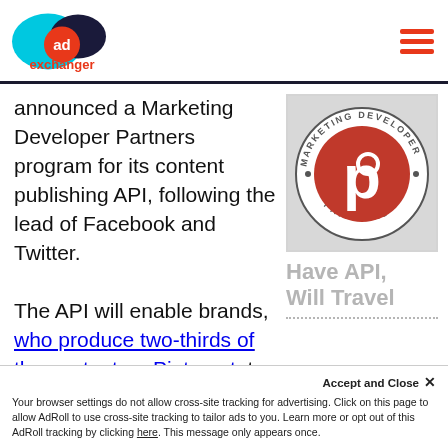AdExchanger logo and navigation
announced a Marketing Developer Partners program for its content publishing API, following the lead of Facebook and Twitter.

The API will enable brands, who produce two-thirds of the content on Pinterest, to manage workflow and optimization of organic Pinterest content through marketing platforms.
[Figure (logo): Pinterest Marketing Developer Partners badge - circular badge with Pinterest P logo in red/white and text 'MARKETING DEVELOPER PARTNERS' around the circle]
Have API, Will Travel
Your browser settings do not allow cross-site tracking for advertising. Click on this page to allow AdRoll to use cross-site tracking to tailor ads to you. Learn more or opt out of this AdRoll tracking by clicking here. This message only appears once.